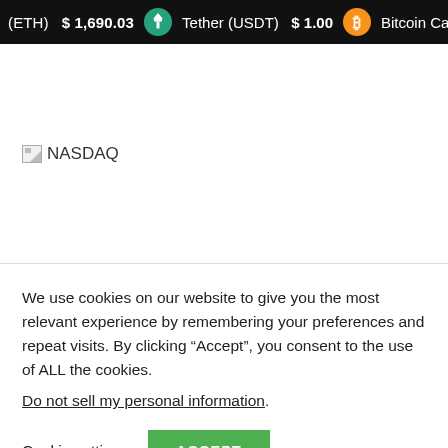(ETH)  $ 1,690.03   Tether (USDT)  $ 1.00   Bitcoin Ca
[Figure (logo): NASDAQ logo placeholder (broken image icon with NASDAQ text)]
We use cookies on our website to give you the most relevant experience by remembering your preferences and repeat visits. By clicking “Accept”, you consent to the use of ALL the cookies.
Do not sell my personal information.
Cookie settings   ACCEPT